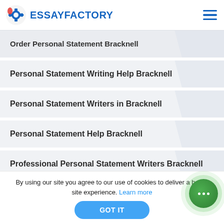ESSAYFACTORY
Order Personal Statement Bracknell
Personal Statement Writing Help Bracknell
Personal Statement Writers in Bracknell
Personal Statement Help Bracknell
Professional Personal Statement Writers Bracknell
By using our site you agree to our use of cookies to deliver a better site experience. Learn more